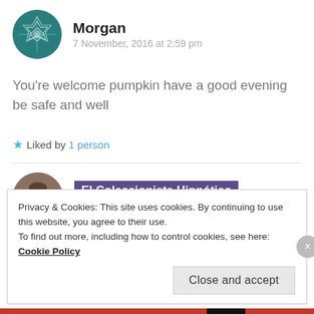[Figure (illustration): Teal geometric pattern avatar for Morgan]
Morgan
7 November, 2016 at 2:59 pm
You're welcome pumpkin have a good evening be safe and well
★ Liked by 1 person
[Figure (photo): Photo avatar of El Coleccionista Hipnótico]
El Coleccionista Hipnótico
7 November, 2016 at 3:02 pm
Privacy & Cookies: This site uses cookies. By continuing to use this website, you agree to their use.
To find out more, including how to control cookies, see here: Cookie Policy
Close and accept